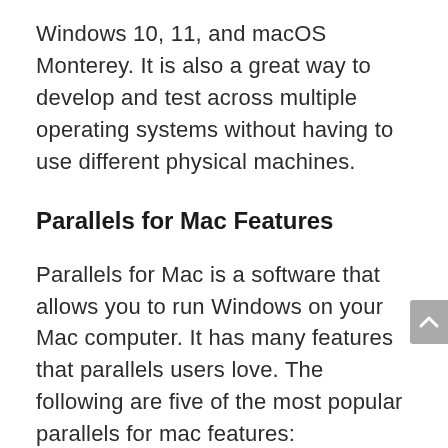Windows 10, 11, and macOS Monterey. It is also a great way to develop and test across multiple operating systems without having to use different physical machines.
Parallels for Mac Features
Parallels for Mac is a software that allows you to run Windows on your Mac computer. It has many features that parallels users love. The following are five of the most popular parallels for mac features: